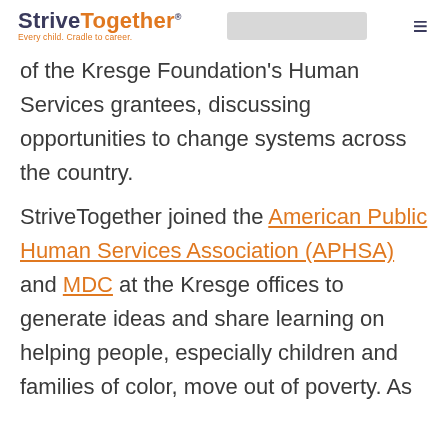StriveTogether — Every child. Cradle to career.
of the Kresge Foundation's Human Services grantees, discussing opportunities to change systems across the country.
StriveTogether joined the American Public Human Services Association (APHSA) and MDC at the Kresge offices to generate ideas and share learning on helping people, especially children and families of color, move out of poverty. As